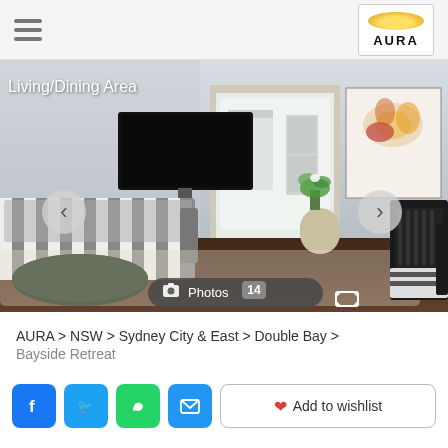AURA (logo and hamburger menu)
[Figure (photo): Interior photo of a living/dining area with a black-and-white striped sofa, wall-mounted TV, flower artwork, dark hardwood floors, and a kitchen visible in the background. Navigation arrows on left and right. Photos 14 badge at bottom.]
Living/Dining Area
AURA > NSW > Sydney City & East > Double Bay > Bayside Retreat
Add to wishlist